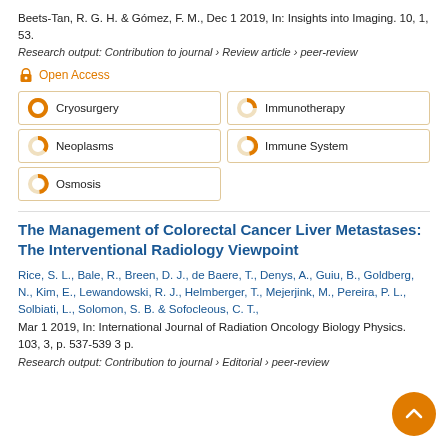Beets-Tan, R. G. H. & Gómez, F. M., Dec 1 2019, In: Insights into Imaging. 10, 1, 53.
Research output: Contribution to journal › Review article › peer-review
Open Access
Cryosurgery
Immunotherapy
Neoplasms
Immune System
Osmosis
The Management of Colorectal Cancer Liver Metastases: The Interventional Radiology Viewpoint
Rice, S. L., Bale, R., Breen, D. J., de Baere, T., Denys, A., Guiu, B., Goldberg, N., Kim, E., Lewandowski, R. J., Helmberger, T., Mejerjink, M., Pereira, P. L., Solbiati, L., Solomon, S. B. & Sofocleous, C. T., Mar 1 2019, In: International Journal of Radiation Oncology Biology Physics. 103, 3, p. 537-539 3 p.
Research output: Contribution to journal › Editorial › peer-review